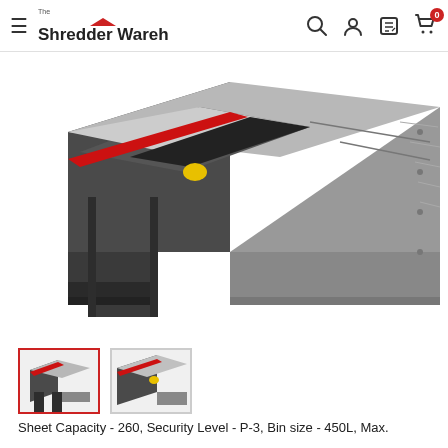The Shredder Warehouse
[Figure (photo): Large industrial paper shredder machine shown at an angle, grey and dark grey metal body with a red accent strip along the top feed tray. The machine has a wide opening feed area and sits on a heavy base.]
[Figure (photo): Thumbnail 1: Front view of the industrial shredder showing the full body with feed opening.]
[Figure (photo): Thumbnail 2: Angled view of the industrial shredder showing the feed tray and red accent.]
Sheet Capacity - 260, Security Level - P-3, Bin size - 450L, Max.